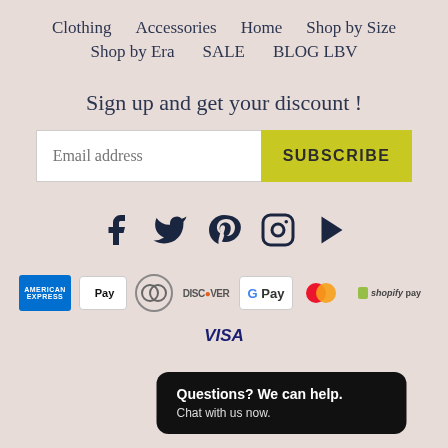Clothing   Accessories   Home   Shop by Size
Shop by Era   SALE   BLOG LBV
Sign up and get your discount !
Email address   SUBSCRIBE
[Figure (other): Social media icons: Facebook, Twitter, Pinterest, Instagram, YouTube]
[Figure (other): Payment method icons: American Express, Apple Pay, Diners Club, Discover, Google Pay, Mastercard, Shopify Pay, Visa]
Questions? We can help. Chat with us now.